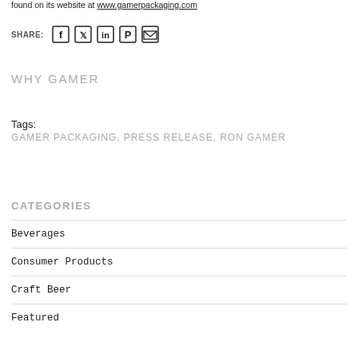found on its website at www.gamerpackaging.com
SHARE: [Facebook] [Twitter] [LinkedIn] [Pinterest] [Email]
WHY GAMER
Tags:
GAMER PACKAGING, PRESS RELEASE, RON GAMER
CATEGORIES
Beverages
Consumer Products
Craft Beer
Featured